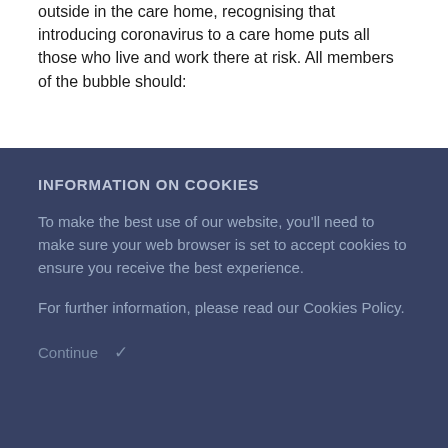outside in the care home, recognising that introducing coronavirus to a care home puts all those who live and work there at risk. All members of the bubble should:
INFORMATION ON COOKIES
To make the best use of our website, you'll need to make sure your web browser is set to accept cookies to ensure you receive the best experience.
For further information, please read our Cookies Policy.
Continue ✓
resident outside the care home
In order to safely return to the care home, the resident will need to be tested and isolated. We will provide further details shortly through the